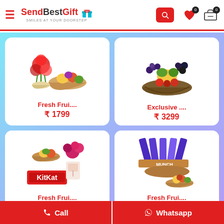SendBestGift — SMILES AT YOUR DOORSTEP
[Figure (photo): Fresh fruits basket with roses — product image]
Fresh Frui....
₹ 1799
[Figure (photo): Exclusive fruit basket with assorted fruits — product image]
Exclusive ....
₹ 3299
[Figure (photo): Fruit basket with KitKat and flowers — product image]
Fresh Frui....
₹ 1299
[Figure (photo): Chocolate assortment with fruit basket — product image]
Fresh Frui....
₹ 1699
📞 Call   💬 Whatsapp